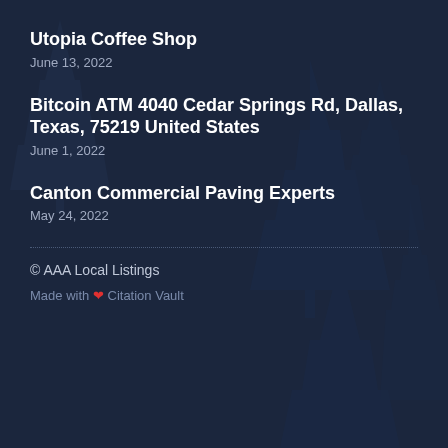Utopia Coffee Shop
June 13, 2022
Bitcoin ATM 4040 Cedar Springs Rd, Dallas, Texas, 75219 United States
June 1, 2022
Canton Commercial Paving Experts
May 24, 2022
© AAA Local Listings
Made with ❤ Citation Vault